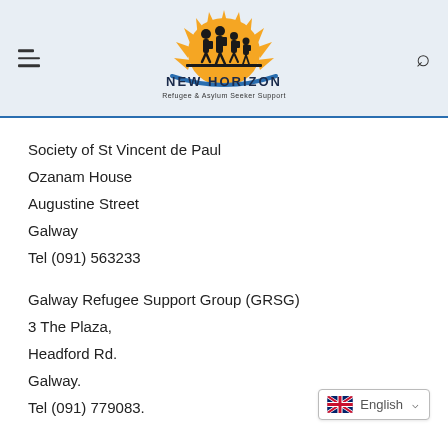[Figure (logo): New Horizon Refugee & Asylum Seeker Support logo with orange sunburst, silhouettes of people walking, blue arc, and organization name]
Society of St Vincent de Paul
Ozanam House
Augustine Street
Galway
Tel (091) 563233
Galway Refugee Support Group (GRSG)
3 The Plaza,
Headford Rd.
Galway.
Tel (091) 779083.